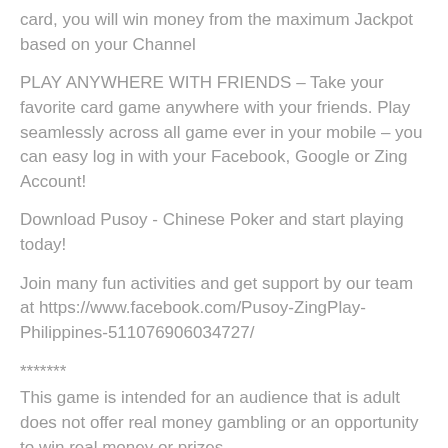card, you will win money from the maximum Jackpot based on your Channel
PLAY ANYWHERE WITH FRIENDS – Take your favorite card game anywhere with your friends. Play seamlessly across all game ever in your mobile – you can easy log in with your Facebook, Google or Zing Account!
Download Pusoy - Chinese Poker and start playing today!
Join many fun activities and get support by our team at https://www.facebook.com/Pusoy-ZingPlay-Philippines-511076906034727/
*******
This game is intended for an audience that is adult does not offer real money gambling or an opportunity to win real money or prizes.